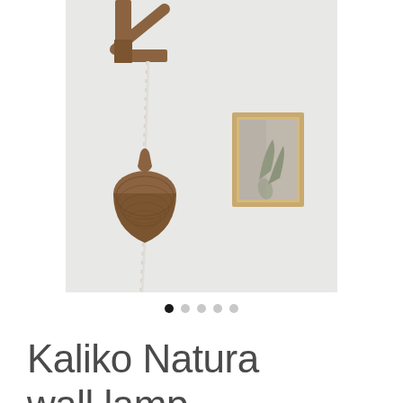[Figure (photo): A wall lamp with a woven rattan/rope pendant shade hanging from a wooden bracket mounted on a white wall. A framed artwork is visible on the right side of the wall.]
● ○ ○ ○ ○
Kaliko Natura wall lamp